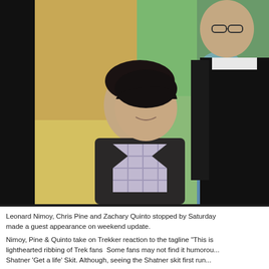[Figure (photo): Photo of Zachary Quinto (seated, looking up) and Leonard Nimoy (standing, in black jacket) on a Saturday Night Live set with a colorful US map backdrop.]
Leonard Nimoy, Chris Pine and Zachary Quinto stopped by Saturday Night Live and made a guest appearance on weekend update.
Nimoy, Pine & Quinto take on Trekker reaction to the tagline "This is lighthearted ribbing of Trek fans  Some fans may not find it humorous... Shatner 'Get a life' Skit.  Although, seeing the Shatner skit first run...